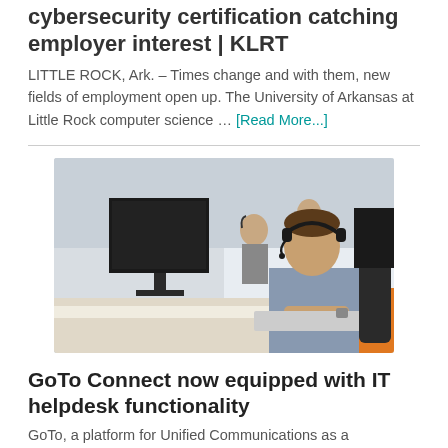cybersecurity certification catching employer interest | KLRT
LITTLE ROCK, Ark. – Times change and with them, new fields of employment open up. The University of Arkansas at Little Rock computer science … [Read More...]
[Figure (photo): Office tech support scene: a man wearing a headset sits at a desk in front of a large monitor, typing on a keyboard. In the background, other office workers are visible. Orange desk accents are visible.]
GoTo Connect now equipped with IT helpdesk functionality
GoTo, a platform for Unified Communications as a ...